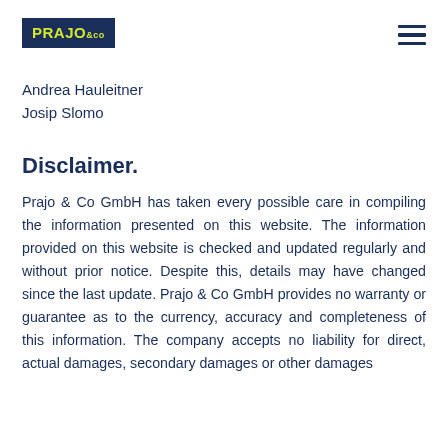PRAJO & CO
Andrea Hauleitner
Josip Slomo
Disclaimer.
Prajo & Co GmbH has taken every possible care in compiling the information presented on this website. The information provided on this website is checked and updated regularly and without prior notice. Despite this, details may have changed since the last update. Prajo & Co GmbH provides no warranty or guarantee as to the currency, accuracy and completeness of this information. The company accepts no liability for direct, actual damages, secondary damages or other damages